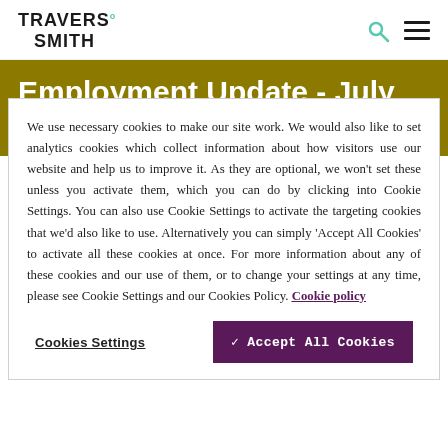TRAVERS. SMITH
Employment Update - July 2023
We use necessary cookies to make our site work. We would also like to set analytics cookies which collect information about how visitors use our website and help us to improve it. As they are optional, we won't set these unless you activate them, which you can do by clicking into Cookie Settings. You can also use Cookie Settings to activate the targeting cookies that we'd also like to use. Alternatively you can simply 'Accept All Cookies' to activate all these cookies at once. For more information about any of these cookies and our use of them, or to change your settings at any time, please see Cookie Settings and our Cookies Policy. Cookie policy
Cookies Settings
✓ Accept All Cookies